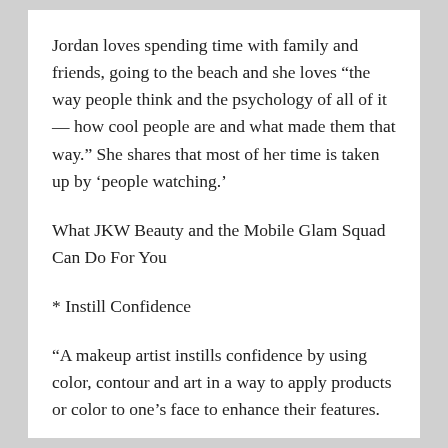Jordan loves spending time with family and friends, going to the beach and she loves “the way people think and the psychology of all of it — how cool people are and what made them that way.” She shares that most of her time is taken up by ‘people watching.’
What JKW Beauty and the Mobile Glam Squad Can Do For You
* Instill Confidence
“A makeup artist instills confidence by using color, contour and art in a way to apply products or color to one’s face to enhance their features.